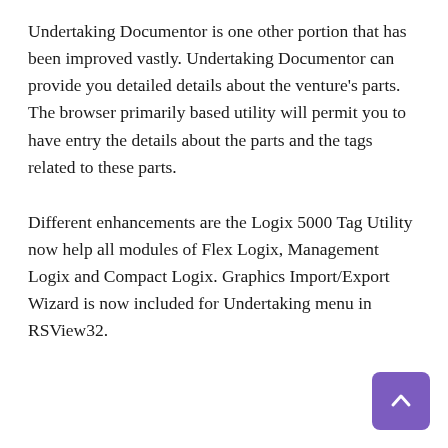Undertaking Documentor is one other portion that has been improved vastly. Undertaking Documentor can provide you detailed details about the venture's parts. The browser primarily based utility will permit you to have entry the details about the parts and the tags related to these parts.
Different enhancements are the Logix 5000 Tag Utility now help all modules of Flex Logix, Management Logix and Compact Logix. Graphics Import/Export Wizard is now included for Undertaking menu in RSView32.